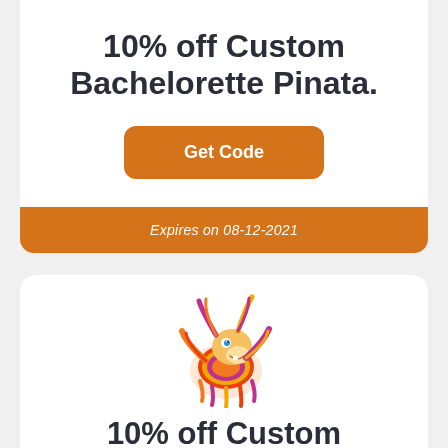10% off Custom Bachelorette Pinata.
Get Code
Expires on 08-12-2021
[Figure (illustration): Colorful cartoon pinata donkey mascot with raised arms, striped in red, orange, yellow and purple, smiling face with blue eyes]
10% off Custom Graduation